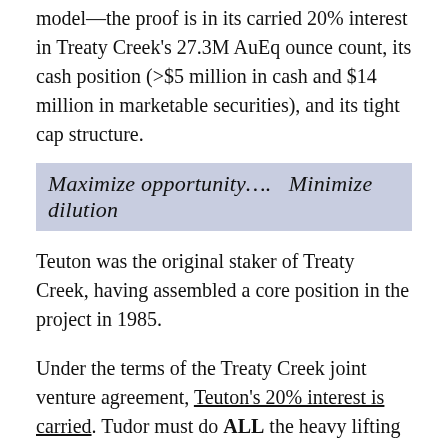model—the proof is in its carried 20% interest in Treaty Creek's 27.3M AuEq ounce count, its cash position (>$5 million in cash and $14 million in marketable securities), and its tight cap structure.
Maximize opportunity….  Minimize dilution
Teuton was the original staker of Treaty Creek, having assembled a core position in the project in 1985.
Under the terms of the Treaty Creek joint venture agreement, Teuton's 20% interest is carried. Tudor must do ALL the heavy lifting—it's required to cover all exploration expenses until a production decision is made. (Tudor has spent more than $50